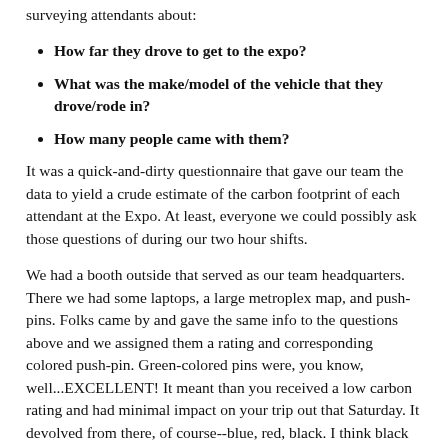surveying attendants about:
How far they drove to get to the expo?
What was the make/model of the vehicle that they drove/rode in?
How many people came with them?
It was a quick-and-dirty questionnaire that gave our team the data to yield a crude estimate of the carbon footprint of each attendant at the Expo. At least, everyone we could possibly ask those questions of during our two hour shifts.
We had a booth outside that served as our team headquarters. There we had some laptops, a large metroplex map, and push-pins. Folks came by and gave the same info to the questions above and we assigned them a rating and corresponding colored push-pin. Green-colored pins were, you know, well...EXCELLENT! It meant than you received a low carbon rating and had minimal impact on your trip out that Saturday. It devolved from there, of course--blue, red, black. I think black was the worst. I remember interviewing one guy laughed when he told me that he drove some kind of three-axle truck from